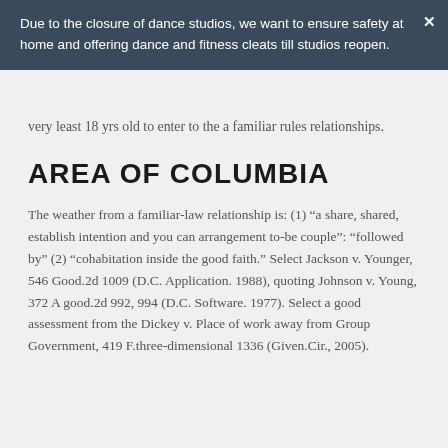Due to the closure of dance studios, we want to ensure safety at home and offering dance and fitness cleats till studios reopen.
very least 18 yrs old to enter to the a familiar rules relationships.
AREA OF COLUMBIA
The weather from a familiar-law relationship is: (1) “a share, shared, establish intention and you can arrangement to-be couple”: “followed by” (2) “cohabitation inside the good faith.” Select Jackson v. Younger, 546 Good.2d 1009 (D.C. Application. 1988), quoting Johnson v. Young, 372 A good.2d 992, 994 (D.C. Software. 1977). Select a good assessment from the Dickey v. Place of work away from Group Government, 419 F.three-dimensional 1336 (Given.Cir., 2005).